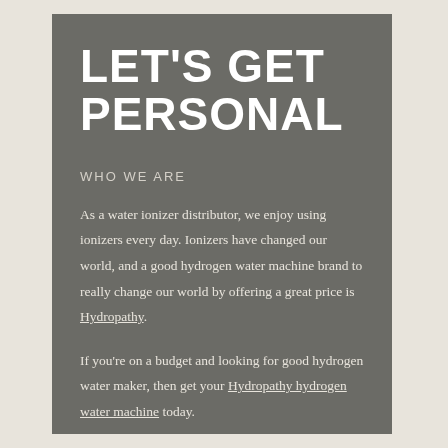LET'S GET PERSONAL
WHO WE ARE
As a water ionizer distributor, we enjoy using ionizers every day. Ionizers have changed our world, and a good hydrogen water machine brand to really change our world by offering a great price is Hydropathy.
If you're on a budget and looking for good hydrogen water maker, then get your Hydropathy hydrogen water machine today.